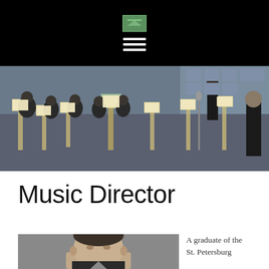Navigation bar with logo and hamburger menu
[Figure (photo): Wide panoramic photo of an orchestra rehearsal, musicians with sheet music on stands, conductor visible at back, shot from elevated angle]
Music Director
[Figure (photo): Headshot/portrait of a man, cropped at bottom of page]
A graduate of the St. Petersburg